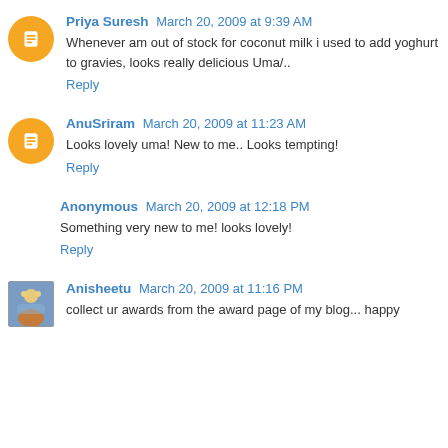Priya Suresh March 20, 2009 at 9:39 AM
Whenever am out of stock for coconut milk i used to add yoghurt to gravies, looks really delicious Uma/..
Reply
AnuSriram March 20, 2009 at 11:23 AM
Looks lovely uma! New to me.. Looks tempting!
Reply
Anonymous March 20, 2009 at 12:18 PM
Something very new to me! looks lovely!
Reply
Anisheetu March 20, 2009 at 11:16 PM
collect ur awards from the award page of my blog... happy